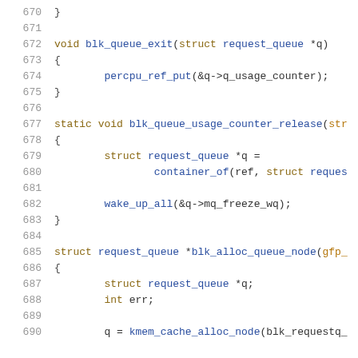Source code listing lines 670-690, C language kernel code showing blk_queue_exit, blk_queue_usage_counter_release, and blk_alloc_queue_node functions.